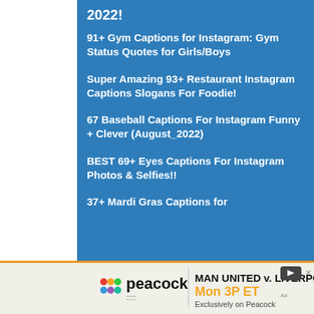2022!
91+ Gym Captions for Instagram: Gym Status Quotes for Girls/Boys
Super Amazing 93+ Restaurant Instagram Captions Slogans For Foodie!
67 Baseball Captions For Instagram Funny + Clever (August_2022)
BEST 69+ Eyes Captions For Instagram Photos & Selfies!!
37+ Mardi Gras Captions for
[Figure (screenshot): Advertisement banner for Peacock streaming: MAN UNITED v. LIVERPOOL Mon 3P ET Exclusively on Peacock]